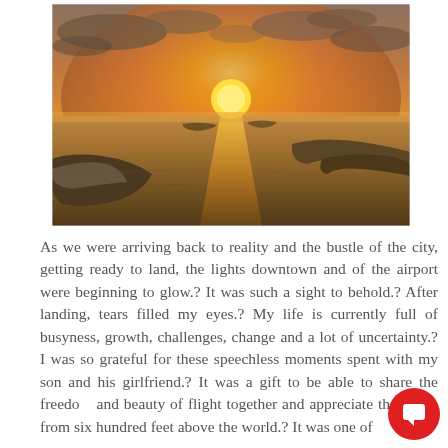[Figure (photo): Aerial view of a coastal sunset landscape taken from a small aircraft. The sun is setting on the horizon over water and islands, with orange and golden sky reflected on the water surface. The aircraft wing tip is visible in the lower left corner.]
As we were arriving back to reality and the bustle of the city, getting ready to land, the lights downtown and of the airport were beginning to glow.? It was such a sight to behold.? After landing, tears filled my eyes.? My life is currently full of busyness, growth, challenges, change and a lot of uncertainty.? I was so grateful for these speechless moments spent with my son and his girlfriend.? It was a gift to be able to share the freedom and beauty of flight together and appreciate the sights from six hundred feet above the world.? It was one of